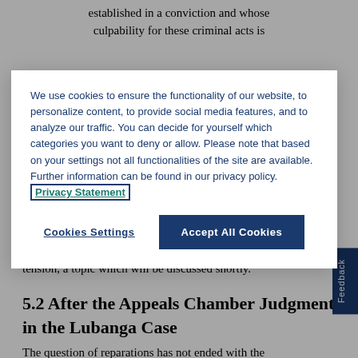established in a conviction and whose culpability for these criminal acts is
We use cookies to ensure the functionality of our website, to personalize content, to provide social media features, and to analyze our traffic. You can decide for yourself which categories you want to deny or allow. Please note that based on your settings not all functionalities of the site are available. Further information can be found in our privacy policy. Privacy Statement
Cookies Settings
Accept All Cookies
elements') are by nature legal issues and should be overseen by judicial organs. But this development has also led to institutional tension, a topic which will be discussed shortly.
5.2 After the Appeals Chamber Judgment in the Lubanga Case
The question of reparations has not ended with the